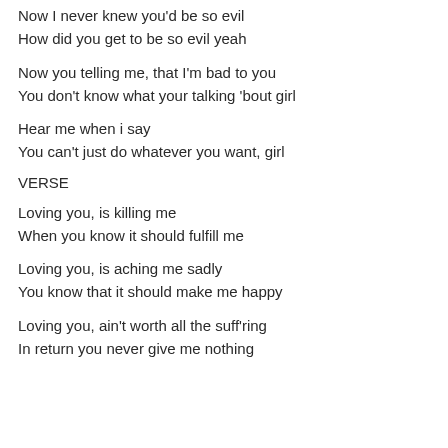Now I never knew you'd be so evil
How did you get to be so evil yeah
Now you telling me, that I'm bad to you
You don't know what your talking 'bout girl
Hear me when i say
You can't just do whatever you want, girl
VERSE
Loving you, is killing me
When you know it should fulfill me
Loving you, is aching me sadly
You know that it should make me happy
Loving you, ain't worth all the suff'ring
In return you never give me nothing